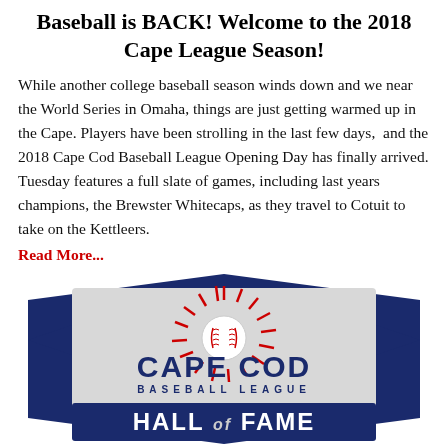Baseball is BACK! Welcome to the 2018 Cape League Season!
While another college baseball season winds down and we near the World Series in Omaha, things are just getting warmed up in the Cape. Players have been strolling in the last few days,  and the 2018 Cape Cod Baseball League Opening Day has finally arrived. Tuesday features a full slate of games, including last years champions, the Brewster Whitecaps, as they travel to Cotuit to take on the Kettleers.
Read More...
[Figure (logo): Cape Cod Baseball League Hall of Fame logo with navy pentagon shape, red starburst, baseball, and text reading CAPE COD BASEBALL LEAGUE HALL of FAME]